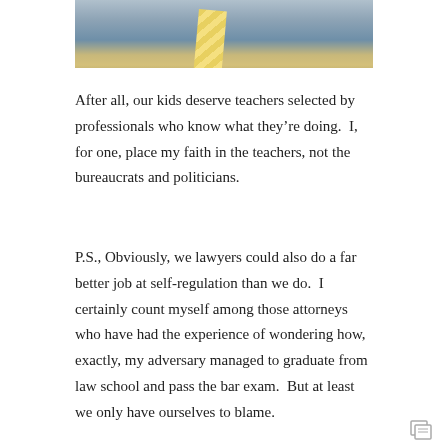[Figure (photo): Partial photo of a person wearing a blue shirt and yellow striped tie, cropped at the top of the page]
After all, our kids deserve teachers selected by professionals who know what they’re doing.  I, for one, place my faith in the teachers, not the bureaucrats and politicians.
P.S., Obviously, we lawyers could also do a far better job at self-regulation than we do.  I certainly count myself among those attorneys who have had the experience of wondering how, exactly, my adversary managed to graduate from law school and pass the bar exam.  But at least we only have ourselves to blame.